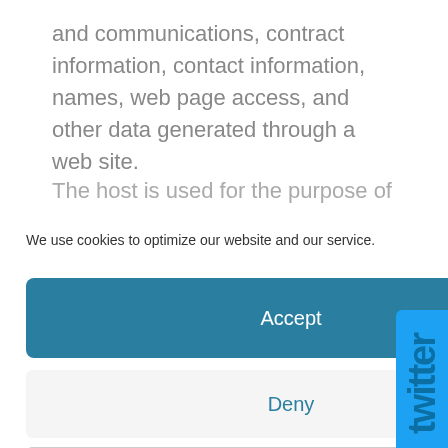and communications, contract information, contact information, names, web page access, and other data generated through a web site.
The host is used for the purpose of fulfilling
We use cookies to optimize our website and our service.
Accept
Deny
Preferences
Cookie Policy
[Figure (logo): Twitter brand badge/button on right side with 'twitter' text in teal/blue color]